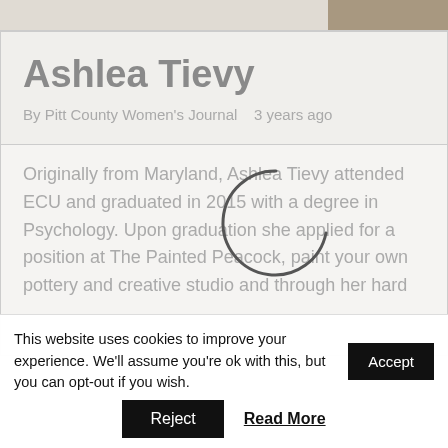[Figure (photo): Top image strip with a partial photo thumbnail on the right side]
Ashlea Tievy
By Pitt County Women's Journal   3 years ago
[Figure (other): Loading spinner (circular arc) overlaid on article content area]
Originally from Maryland, Ashlea Tievy attended ECU and graduated in 2015 with a degree in Psychology. Upon graduation she applied for a position at The Painted Peacock, paint your own pottery and creative studio and through her hard
This website uses cookies to improve your experience. We'll assume you're ok with this, but you can opt-out if you wish.
Accept
Reject
Read More